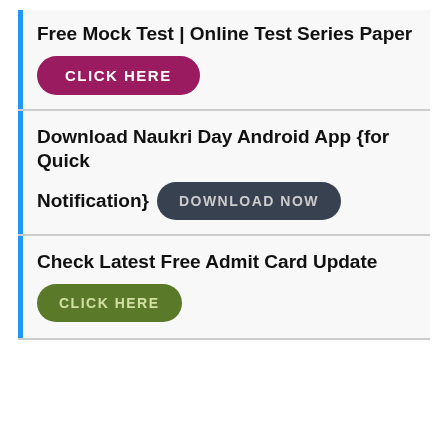Free Mock Test | Online Test Series Paper
[Figure (other): Pink/maroon rounded button with text CLICK HERE]
Download Naukri Day Android App {for Quick Notification}
[Figure (other): Dark rounded button with text DOWNLOAD NOW]
Check Latest Free Admit Card Update
[Figure (other): Green rounded button with text CLICK HERE]